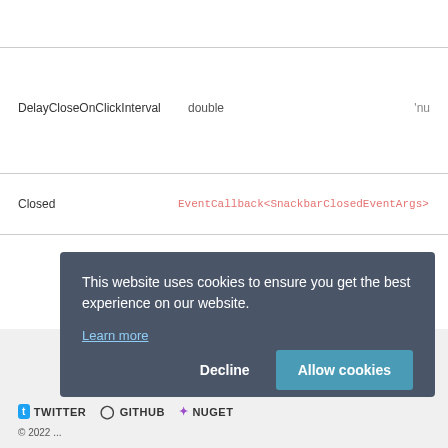| Name | Type | Default |
| --- | --- | --- |
| DelayCloseOnClickInterval | double | 'nu |
| Closed | EventCallback<SnackbarClosedEventArgs> |  |
This website uses cookies to ensure you get the best experience on our website.
Learn more
Decline
Allow cookies
TWITTER  GITHUB  NUGET  © 2022 ...